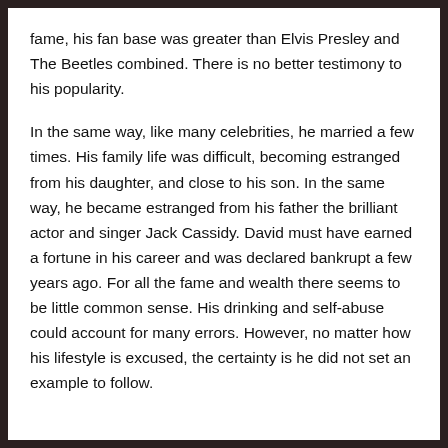fame, his fan base was greater than Elvis Presley and The Beetles combined. There is no better testimony to his popularity.
In the same way, like many celebrities, he married a few times. His family life was difficult, becoming estranged from his daughter, and close to his son. In the same way, he became estranged from his father the brilliant actor and singer Jack Cassidy. David must have earned a fortune in his career and was declared bankrupt a few years ago. For all the fame and wealth there seems to be little common sense. His drinking and self-abuse could account for many errors. However, no matter how his lifestyle is excused, the certainty is he did not set an example to follow.